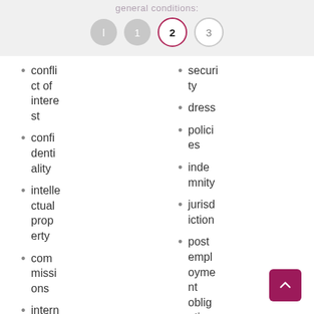general conditions:
conflict of interest
confidentiality
intellectual property
commissions
intern
security
dress
policies
indemnity
jurisdiction
post employment obligation